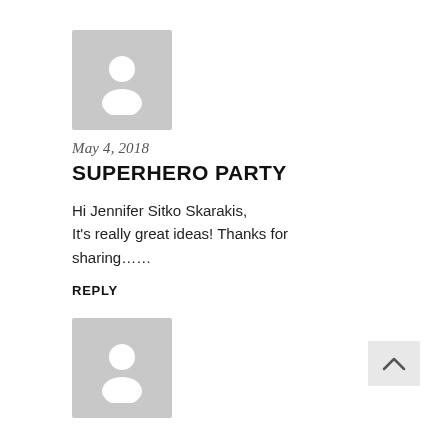[Figure (illustration): Gray avatar placeholder with white person silhouette icon, first comment]
May 4, 2018
SUPERHERO PARTY
Hi Jennifer Sitko Skarakis,
It's really great ideas! Thanks for sharing......
REPLY
[Figure (illustration): Gray avatar placeholder with white person silhouette icon, second comment]
[Figure (other): Back to top arrow chevron button in light gray box]